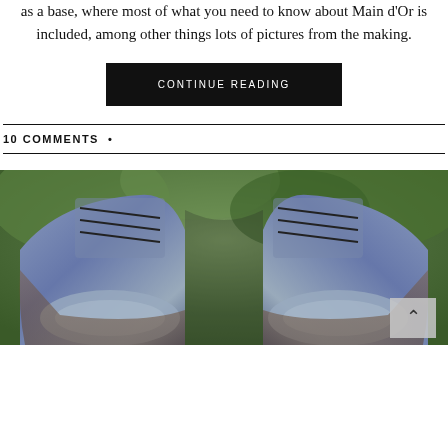as a base, where most of what you need to know about Main d'Or is included, among other things lots of pictures from the making.
CONTINUE READING
10 COMMENTS •
[Figure (photo): Close-up top-down view of a pair of dark grey/blue dress shoes with laces, against a blurred green foliage background.]